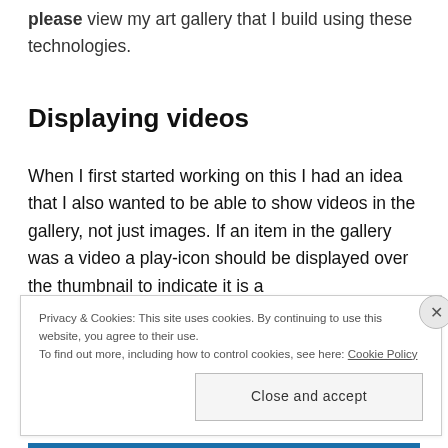please view my art gallery that I build using these technologies.
Displaying videos
When I first started working on this I had an idea that I also wanted to be able to show videos in the gallery, not just images. If an item in the gallery was a video a play-icon should be displayed over the thumbnail to indicate it is a
Privacy & Cookies: This site uses cookies. By continuing to use this website, you agree to their use.
To find out more, including how to control cookies, see here: Cookie Policy
Close and accept